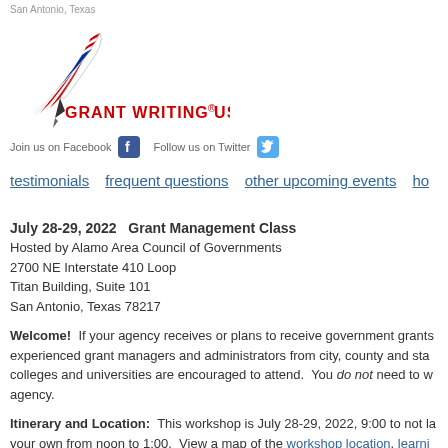San Antonio, Texas
[Figure (logo): Grant Writing USA logo with quill pen and American flag stripes, text: GRANT WRITING USA®]
Join us on Facebook   Follow us on Twitter
testimonials   frequent questions   other upcoming events   ho...
July 28-29, 2022   Grant Management Class
Hosted by Alamo Area Council of Governments
2700 NE Interstate 410 Loop
Titan Building, Suite 101
San Antonio, Texas 78217
Welcome!  If your agency receives or plans to receive government grants, experienced grant managers and administrators from city, county and state, colleges and universities are encouraged to attend.  You do not need to w... agency.
Itinerary and Location:  This workshop is July 28-29, 2022, 9:00 to not la... your own from noon to 1:00.  View a map of the workshop location, learni... confirmation like the one you'll receive immediately after you register.
Tuition:  Tuition is $595 per person and includes everything: two days of ... page participant guide and reference binder.  You'll also have lifetime, fre...